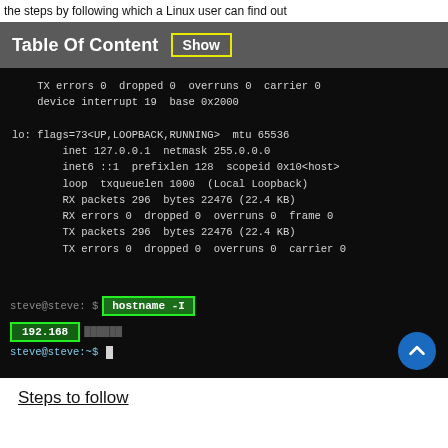the steps by following which a Linux user can find out
Table Of Content  Show
[Figure (screenshot): Linux terminal window showing ifconfig output for loopback interface (lo) with flags, inet, inet6, loop stats, TX/RX packet info, and a highlighted 'hostname -I' command with '192.168' IP address result highlighted in green boxes]
Steps to follow